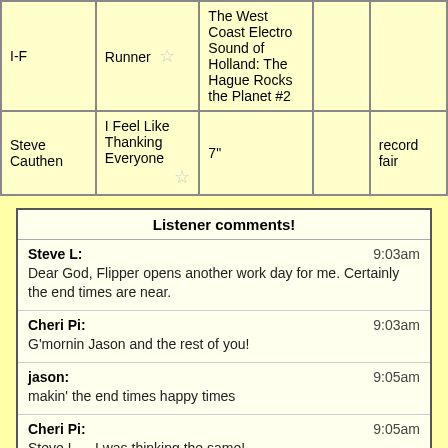| Artist | Track | Album | Label | Source |
| --- | --- | --- | --- | --- |
| I-F | Runner ☆ | The West Coast Electro Sound of Holland: The Hague Rocks the Planet #2 |  |  |
| Steve Cauthen | I Feel Like Thanking Everyone ☆ | 7" |  | record fair |
| Listener comments! |
| --- |
| Steve L: | 9:03am | Dear God, Flipper opens another work day for me. Certainly the end times are near. |
| Cheri Pi: | 9:03am | G'mornin Jason and the rest of you! |
| jason: | 9:05am | makin' the end times happy times |
| Cheri Pi: | 9:05am | Steve L..., I was thinking the same! |